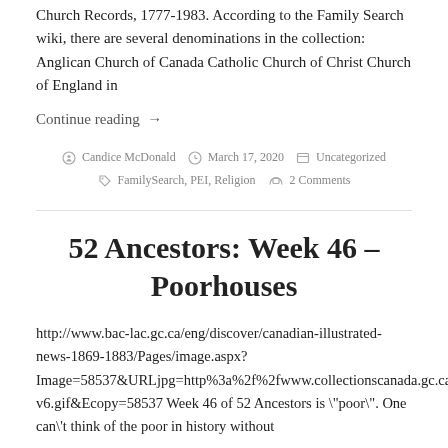Church Records, 1777-1983. According to the Family Search wiki, there are several denominations in the collection: Anglican Church of Canada Catholic Church of Christ Church of England in
Continue reading →
Candice McDonald   March 17, 2020   Uncategorized
FamilySearch, PEI, Religion   2 Comments
52 Ancestors: Week 46 – Poorhouses
http://www.bac-lac.gc.ca/eng/discover/canadian-illustrated-news-1869-1883/Pages/image.aspx?Image=58537&URLjpg=http%3a%2f%2fwww.collectionscanada.gc.ca%2fobj%2f026019%2ff4%2f58537-v6.gif&Ecopy=58537 Week 46 of 52 Ancestors is "poor". One can't think of the poor in history without